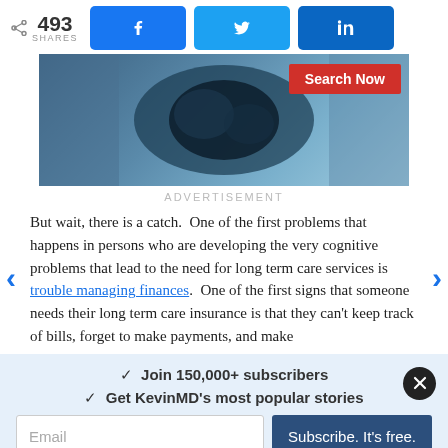< 493 SHARES  [Facebook] [Twitter] [LinkedIn]
[Figure (photo): Medical image of a person reviewing an X-ray, with a red 'Search Now' button overlay]
ADVERTISEMENT
But wait, there is a catch.  One of the first problems that happens in persons who are developing the very cognitive problems that lead to the need for long term care services is trouble managing finances.  One of the first signs that someone needs their long term care insurance is that they can't keep track of bills, forget to make payments, and make
✓  Join 150,000+ subscribers
✓  Get KevinMD's most popular stories
Email  Subscribe. It's free.